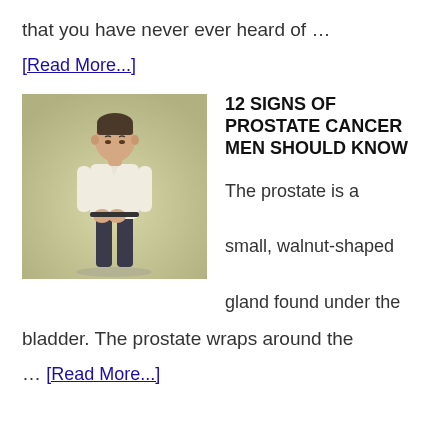that you have never ever heard of …
[Read More...]
[Figure (photo): A man standing with head bowed and hands clasped in front, wearing a white shirt and dark pants, on a light background.]
12 SIGNS OF PROSTATE CANCER MEN SHOULD KNOW
The prostate is a small, walnut-shaped gland found under the
bladder. The prostate wraps around the
… [Read More...]